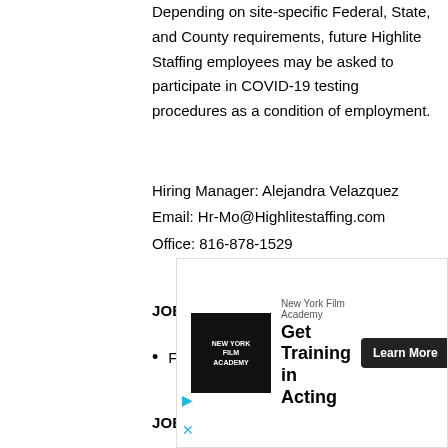Depending on site-specific Federal, State, and County requirements, future Highlite Staffing employees may be asked to participate in COVID-19 testing procedures as a condition of employment.
Hiring Manager: Alejandra Velazquez
Email: Hr-Mo@Highlitestaffing.com
Office: 816-878-1529
JOB & CAREER TYPE:
Full-time
JOB & CAREER CATEGORY:
[Figure (other): Advertisement banner for New York Film Academy. Shows logo on left, 'Get Training in Acting' headline in center, and 'Learn More' button on right. Includes ad indicator arrows at bottom left.]